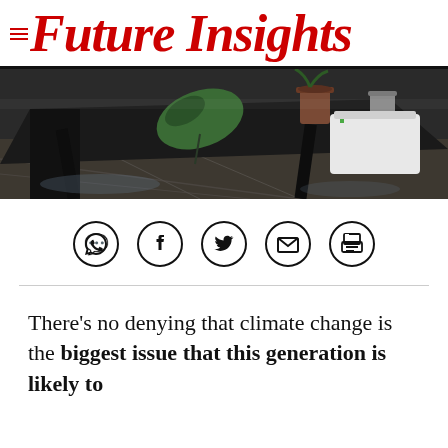Future Insights
[Figure (photo): Overhead view of a dark wooden table with plants including a monstera leaf, terracotta pots, and a white plastic container with green lid, on a wet stone floor.]
[Figure (infographic): Row of five social sharing icons: WhatsApp, Facebook, Twitter/X, Email, Print]
There's no denying that climate change is the biggest issue that this generation is likely to